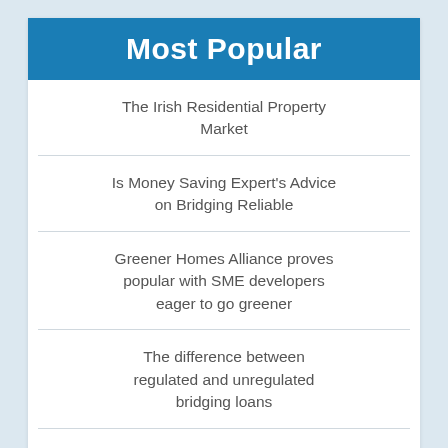Most Popular
The Irish Residential Property Market
Is Money Saving Expert's Advice on Bridging Reliable
Greener Homes Alliance proves popular with SME developers eager to go greener
The difference between regulated and unregulated bridging loans
Bridging Loan & Finance Interest Rates: A Complete Guide